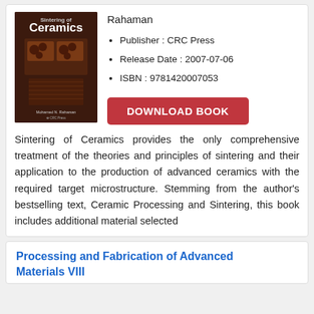[Figure (photo): Book cover of 'Sintering of Ceramics' by Mohamed N. Rahaman, CRC Press, dark brown cover with images of ceramic materials]
Rahaman
Publisher : CRC Press
Release Date : 2007-07-06
ISBN : 9781420007053
DOWNLOAD BOOK
Sintering of Ceramics provides the only comprehensive treatment of the theories and principles of sintering and their application to the production of advanced ceramics with the required target microstructure. Stemming from the author's bestselling text, Ceramic Processing and Sintering, this book includes additional material selected
Processing and Fabrication of Advanced Materials VIII